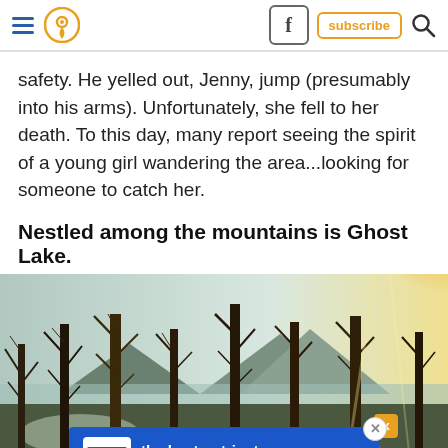Navigation bar with hamburger menu, location pin icon, Facebook icon, subscribe button, search icon
safety. He yelled out, Jenny, jump (presumably into his arms). Unfortunately, she fell to her death. To this day, many report seeing the spirit of a young girl wandering the area...looking for someone to catch her.
Nestled among the mountains is Ghost Lake.
[Figure (photo): Photograph of bare winter trees with mountains and a lake visible in the background, sunlight flaring through the branches. An advertisement overlay reads: the best nutrients for their best life, with Hill's pet nutrition logo.]